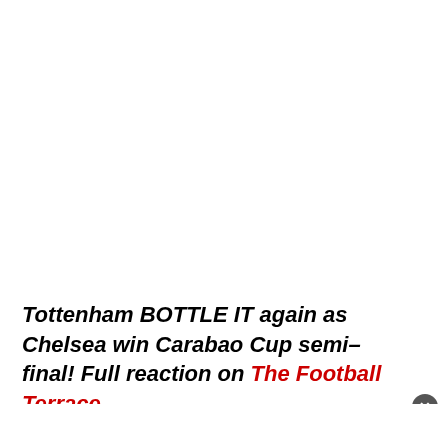Tottenham BOTTLE IT again as Chelsea win Carabao Cup semi-final! Full reaction on The Football Terrace...